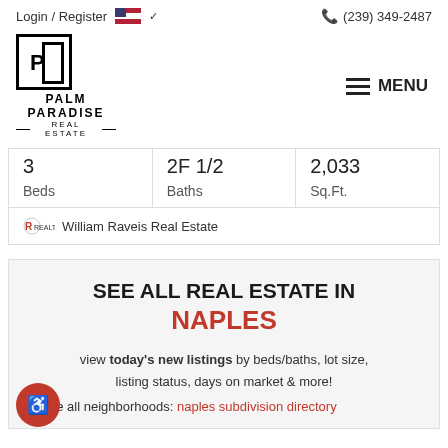Login / Register | (239) 349-2487
[Figure (logo): Palm Paradise Real Estate logo with hamburger menu]
| Beds | Baths | Sq.Ft. |
| --- | --- | --- |
| 3 | 2F 1/2 | 2,033 |
William Raveis Real Estate
SEE ALL REAL ESTATE IN NAPLES
view today's new listings by beds/baths, lot size, listing status, days on market & more!
see all neighborhoods: naples subdivision directory